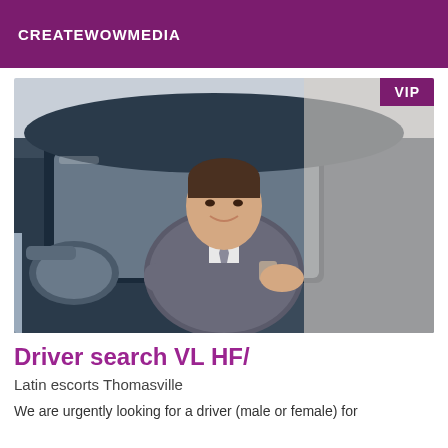CREATEWOWMEDIA
[Figure (photo): Young man in a grey suit and tie seated in the driver's seat of a dark luxury car, smiling at the camera. A VIP badge appears in the top-right corner of the image.]
Driver search VL HF/
Latin escorts Thomasville
We are urgently looking for a driver (male or female) for